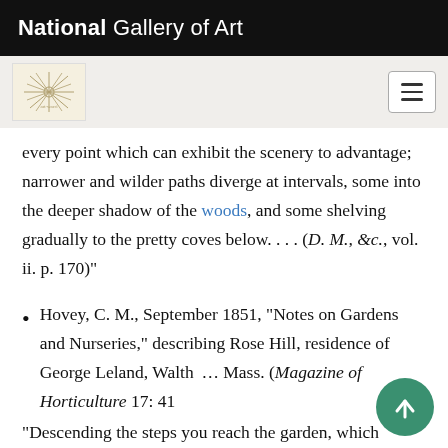National Gallery of Art
every point which can exhibit the scenery to advantage; narrower and wilder paths diverge at intervals, some into the deeper shadow of the woods, and some shelving gradually to the pretty coves below. . . . (D. M., &c., vol. ii. p. 170)"
Hovey, C. M., September 1851, "Notes on Gardens and Nurseries," describing Rose Hill, residence of George Leland, Walth… Mass. (Magazine of Horticulture 17: 41…
"Descending the steps you reach the garden, which…